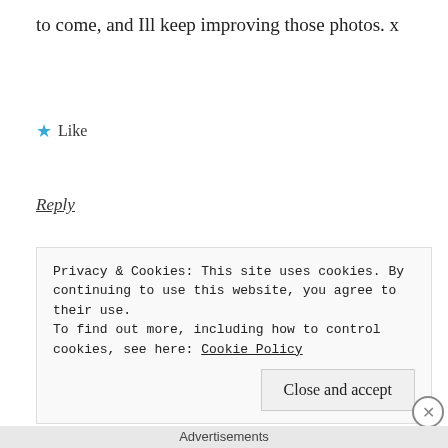to come, and Ill keep improving those photos. x
★ Like
Reply
[Figure (other): Decorative dot separator row]
[Figure (other): Green geometric avatar icon for user Louis]
Louis
October 26, 2014 at 6:29 pm
Privacy & Cookies: This site uses cookies. By continuing to use this website, you agree to their use.
To find out more, including how to control cookies, see here: Cookie Policy
Close and accept
Advertisements